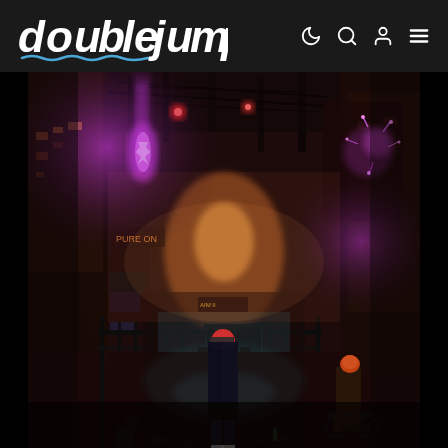doublejump
[Figure (photo): Cyberpunk city alley scene at night. A person with red hair stands center, photographing or filming neon-lit urban scenery. Pink/magenta neon lights glow on the left, orange ambient light in the middle distance. Buildings and scaffolding frame the scene. Another figure sits on the right near a fence. Dark, moody atmosphere with dramatic lighting typical of a cyberpunk video game screenshot (likely Cyberpunk 2077).]